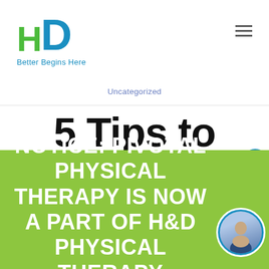HD Better Begins Here
Uncategorized
5 Tips to
NOTICE: PIVOTAL PHYSICAL THERAPY IS NOW A PART OF H&D PHYSICAL THERAPY